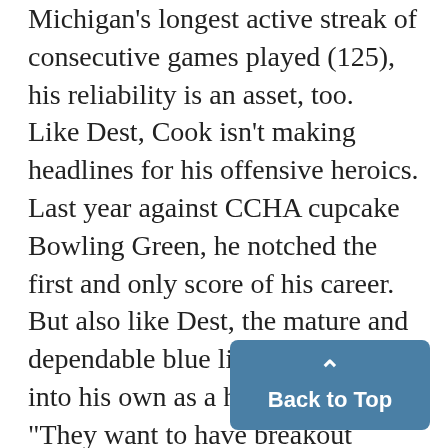Michigan's longest active streak of consecutive games played (125), his reliability is an asset, too. Like Dest, Cook isn't making headlines for his offensive heroics. Last year against CCHA cupcake Bowling Green, he notched the first and only score of his career. But also like Dest, the mature and dependable blue liner is coming into his own as a hockey player. "They want to have breakout years," Powers said. Cook, a 2003 Ottawa Senators